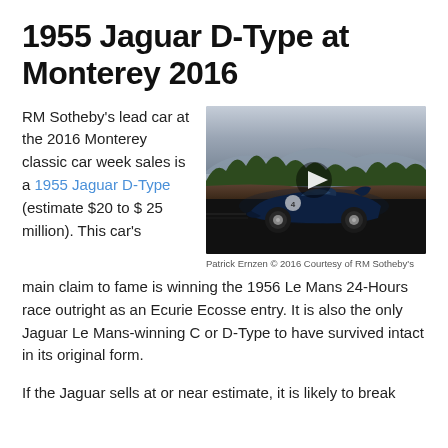1955 Jaguar D-Type at Monterey 2016
[Figure (photo): A dark blue 1955 Jaguar D-Type racing car photographed from the side in motion, with trees and a lake/mountains in the background. A play button overlay is visible.]
Patrick Ernzen © 2016 Courtesy of RM Sotheby's
RM Sotheby's lead car at the 2016 Monterey classic car week sales is a 1955 Jaguar D-Type (estimate $20 to $ 25 million). This car's main claim to fame is winning the 1956 Le Mans 24-Hours race outright as an Ecurie Ecosse entry. It is also the only Jaguar Le Mans-winning C or D-Type to have survived intact in its original form.
If the Jaguar sells at or near estimate, it is likely to break